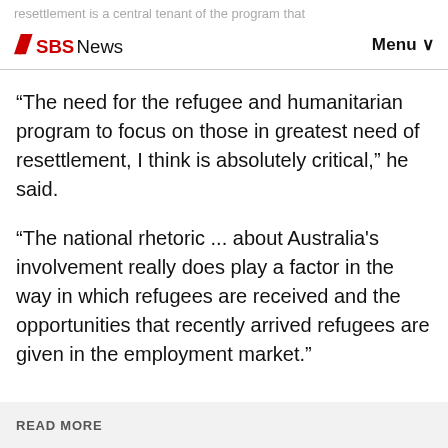resettlement is a central tenant of the program that
[Figure (logo): SBS News logo with red chevron icon and Menu button]
“The need for the refugee and humanitarian program to focus on those in greatest need of resettlement, I think is absolutely critical,” he said.
“The national rhetoric ... about Australia’s involvement really does play a factor in the way in which refugees are received and the opportunities that recently arrived refugees are given in the employment market.”
READ MORE